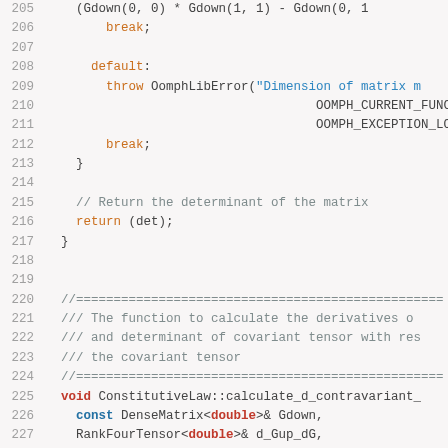Source code listing lines 205-231, C++ implementation of ConstitutiveLaw matrix determinant and derivative calculation functions.